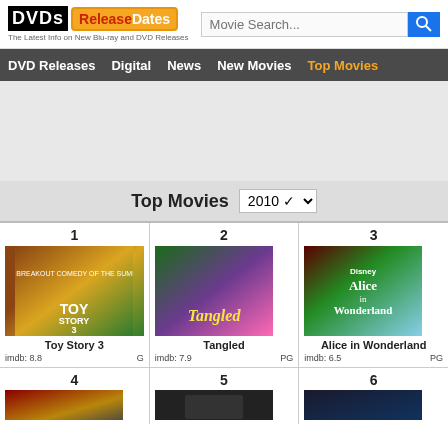DVDs ReleaseDates — The Latest Info on New Blu-ray and DVD Releases
[Figure (screenshot): Website navigation bar with DVD Releases, Digital, News, New Movies, Top Movies links]
[Figure (other): Advertisement space (blank grey area)]
Top Movies 2010
| Rank | Title | imdb | Rating |
| --- | --- | --- | --- |
| 1 | Toy Story 3 | 8.8 | G |
| 2 | Tangled | 7.9 | PG |
| 3 | Alice in Wonderland | 6.5 | PG |
| 4 |  |  |  |
| 5 |  |  |  |
| 6 |  |  |  |